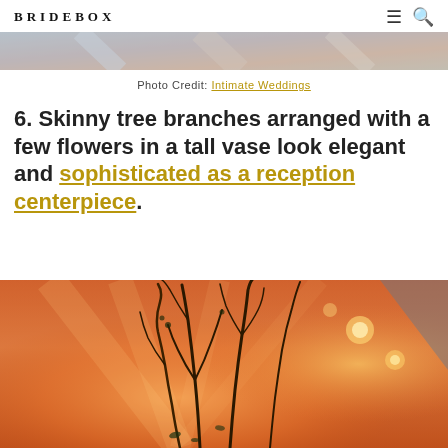BRIDEBOX
[Figure (photo): Top partial image strip showing a blurred, colorful wedding decoration photo]
Photo Credit: Intimate Weddings
6. Skinny tree branches arranged with a few flowers in a tall vase look elegant and sophisticated as a reception centerpiece.
[Figure (photo): Photo of tall skinny curling tree branches arranged in a vase, silhouetted against a warm orange/pink bokeh background with reception lights]